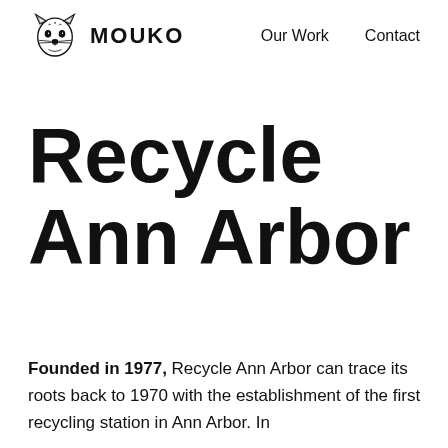MOUKO — Our Work — Contact
Recycle Ann Arbor
Founded in 1977, Recycle Ann Arbor can trace its roots back to 1970 with the establishment of the first recycling station in Ann Arbor. In